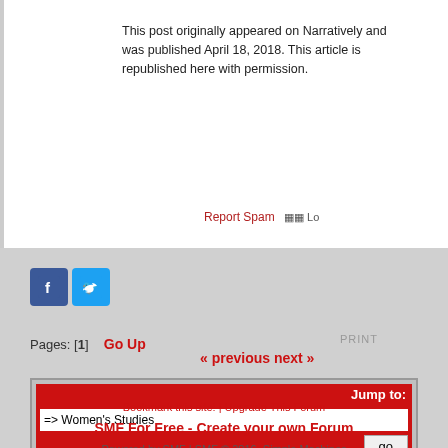This post originally appeared on Narratively and was published April 18, 2018. This article is republished here with permission.
Report Spam   Lo
[Figure (logo): Facebook and Twitter social share buttons]
Pages: [1]  Go Up
PRINT
« previous next »
Jump to: => Women's Studies  go
Bookmark this site! | Upgrade This Forum
SMF For Free - Create your own Forum
Powered by SMF | SMF © 2016, Simple Machines
Privacy Policy